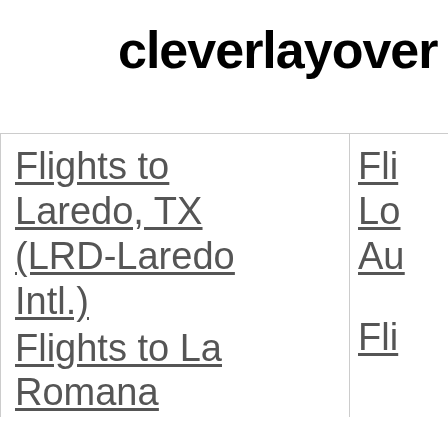cleverlayover
Flights to Laredo, TX (LRD-Laredo Intl.)
Flights to La Romana
Fli Lo Au
Fli